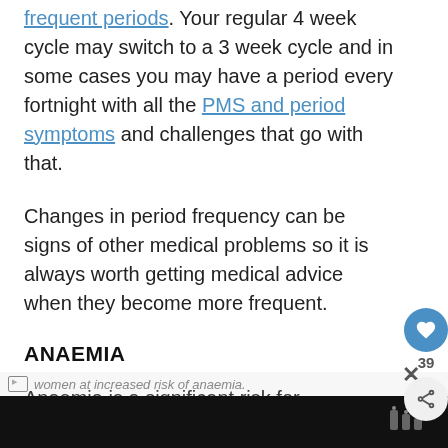frequent periods. Your regular 4 week cycle may switch to a 3 week cycle and in some cases you may have a period every fortnight with all the PMS and period symptoms and challenges that go with that.
Changes in period frequency can be signs of other medical problems so it is always worth getting medical advice when they become more frequent.
ANAEMIA
Anaemia is a significant risk for menstruating girls and women all the way through our life but heavier, more frequent periods in our early forties puts many women at increased risk of anaemia.